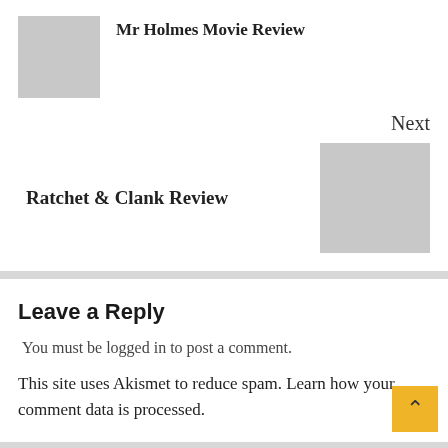Mr Holmes Movie Review
Next
Ratchet & Clank Review
Leave a Reply
You must be logged in to post a comment.
This site uses Akismet to reduce spam. Learn how your comment data is processed.